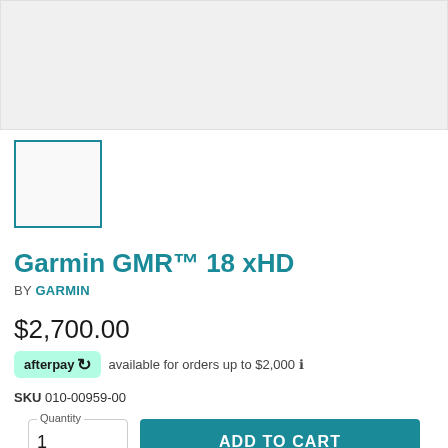[Figure (photo): Product image placeholder — light gray background, main product view area]
[Figure (photo): Product thumbnail image — small square with teal border, light gray background]
Garmin GMR™ 18 xHD
BY GARMIN
$2,700.00
afterpay available for orders up to $2,000 ℹ
SKU 010-00959-00
Quantity 1
ADD TO CART